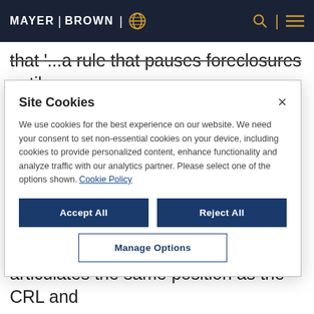MAYER | BROWN
that '...a rule that pauses foreclosures until December 31 would do nothing for those whose forbearance runs through or beyond that cutoff
Site Cookies

We use cookies for the best experience on our website. We need your consent to set non-essential cookies on your device, including cookies to provide personalized content, enhance functionality and analyze traffic with our analytics partner. Please select one of the options shown. Cookie Policy

Accept All    Reject All    Manage Options
articulates the same position as the CRL and